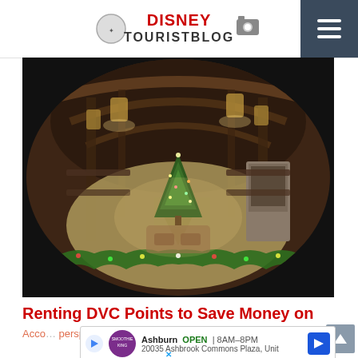DISNEYTOURISTBLOG
[Figure (photo): Overhead fisheye view of a grand resort hotel lobby decorated for Christmas, featuring a large Christmas tree in the center, rustic wooden architecture, stone fireplace, hanging lanterns, and holiday greenery decorations along the perimeter.]
Renting DVC Points to Save Money on
Acco...persp...villas
[Figure (infographic): Advertisement banner: Ashburn OPEN 8AM-8PM, 20035 Ashbrook Commons Plaza, Unit, with Smoothie King logo and navigation arrow icon.]